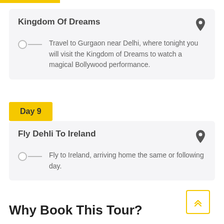Kingdom Of Dreams
Travel to Gurgaon near Delhi, where tonight you will visit the Kingdom of Dreams to watch a magical Bollywood performance.
Day 9
Fly Dehli To Ireland
Fly to Ireland, arriving home the same or following day.
Why Book This Tour?